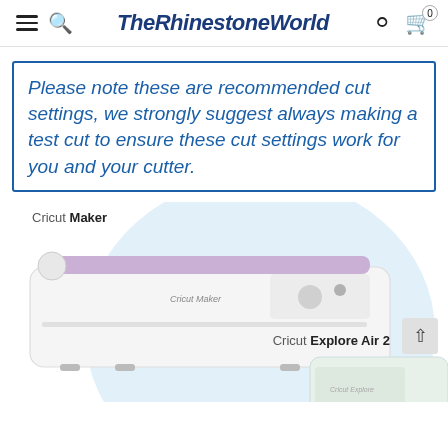TheRhinestoneWorld — navigation bar with hamburger menu, search, logo, user icon, cart (0)
Please note these are recommended cut settings, we strongly suggest always making a test cut to ensure these cut settings work for you and your cutter.
[Figure (photo): Photo of two Cricut cutting machines: Cricut Maker (white/purple lid) with a large light-blue circular backdrop, and Cricut Explore Air 2 (white/mint) partially visible in the lower right. Labels identify each machine.]